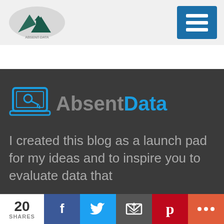[Figure (logo): Absent Data mountain logo with circular grey background and teal/dark green mountain peaks]
[Figure (other): Blue hamburger menu button with three white horizontal lines]
[Figure (logo): AbsentData brand logo with laptop/key icon and text 'AbsentData' in blue and grey]
I created this blog as a launch pad for my ideas and to inspire you to evaluate data that
20 SHARES
[Figure (infographic): Social share bar: Facebook (blue), Twitter (light blue), Email (grey), Pinterest (red), More (orange-red)]